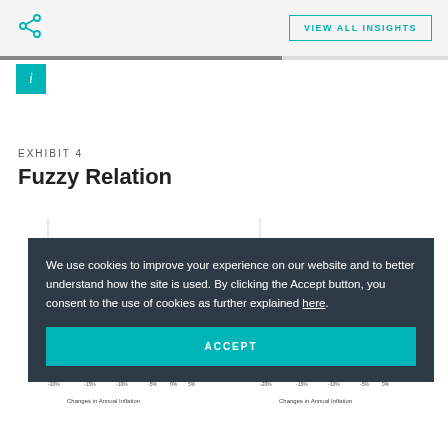VIEW ALL INSIGHTS
EXHIBIT 4
Fuzzy Relation
[Figure (continuous-plot): Two scatter plots showing the fuzzy relation between changes in annual inflation (x-axis, -20% to 20%) and annual returns change (y-axis, approximately -60% to 60%), partially obscured by cookie consent overlay.]
We use cookies to improve your experience on our website and to better understand how the site is used. By clicking the Accept button, you consent to the use of cookies as further explained here.
ACCEPT